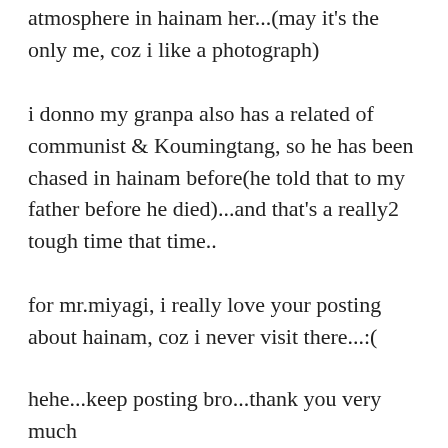atmosphere in hainam her...(may it's the only me, coz i like a photograph)
i donno my granpa also has a related of communist & Koumingtang, so he has been chased in hainam before(he told that to my father before he died)...and that's a really2 tough time that time..
for mr.miyagi, i really love your posting about hainam, coz i never visit there...:(
hehe...keep posting bro...thank you very much 🙂
Reply